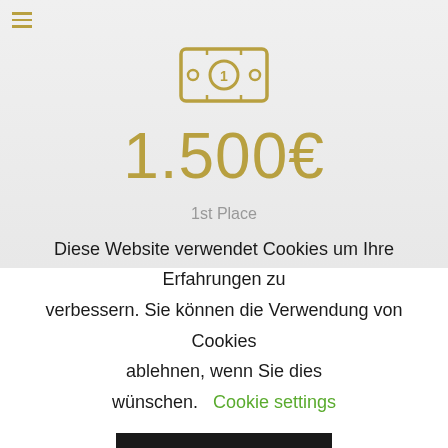[Figure (illustration): Gold/tan colored banknote/money icon with a circle and currency symbol in the center]
1.500€
1st Place
Diese Website verwendet Cookies um Ihre Erfahrungen zu verbessern. Sie können die Verwendung von Cookies ablehnen, wenn Sie dies wünschen. Cookie settings
Akzeptieren